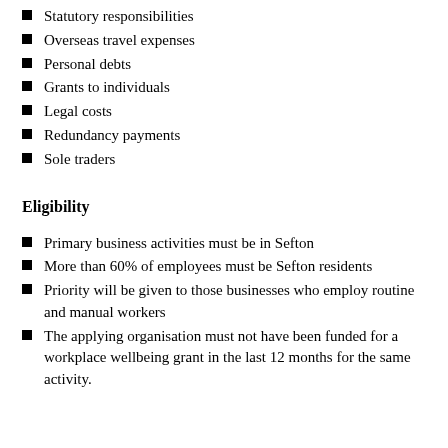Statutory responsibilities
Overseas travel expenses
Personal debts
Grants to individuals
Legal costs
Redundancy payments
Sole traders
Eligibility
Primary business activities must be in Sefton
More than 60% of employees must be Sefton residents
Priority will be given to those businesses who employ routine and manual workers
The applying organisation must not have been funded for a workplace wellbeing grant in the last 12 months for the same activity.